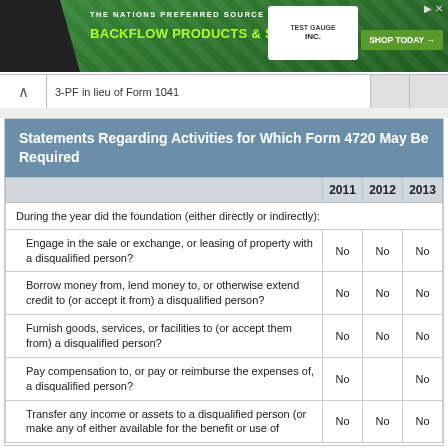[Figure (screenshot): Advertisement banner for Test Gauge Inc. - The Nations Preferred Source for Backflow Products & Services with Shop Today button]
3-PF in lieu of Form 1041
Statements Regarding Activities for Which Form 4720 May Be Required
|  | 2011 | 2012 | 2013 |
| --- | --- | --- | --- |
| During the year did the foundation (either directly or indirectly): |  |  |  |
| Engage in the sale or exchange, or leasing of property with a disqualified person? | No | No | No |
| Borrow money from, lend money to, or otherwise extend credit to (or accept it from) a disqualified person? | No | No | No |
| Furnish goods, services, or facilities to (or accept them from) a disqualified person? | No | No | No |
| Pay compensation to, or pay or reimburse the expenses of, a disqualified person? | No | No | No |
| Transfer any income or assets to a disqualified person (or make any of either available for the benefit or use of | No | No | No |